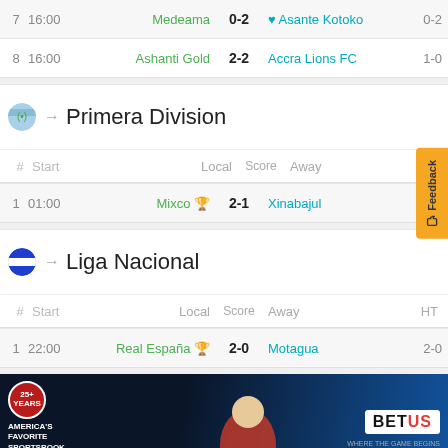| # | Start | Local | Score | Away |  |
| --- | --- | --- | --- | --- | --- |
| 7 | 16:00 | Medeama | 0-2 | Asante Kotoko | 0-2 |
| 8 | 16:00 | Ashanti Gold | 2-2 | Accra Lions FC | 1-0 |
Primera Division
| # | Start | Local | Score | Away |
| --- | --- | --- | --- | --- |
| 1 | 01:00 | Mixco | 2-1 | Xinabajul |
Liga Nacional
| # | Start | Local | Score | Away | HT |
| --- | --- | --- | --- | --- | --- |
| 1 | 22:00 | Real España | 2-0 | Motagua | 2-0 |
[Figure (photo): BetUS advertisement banner: FOOTBALL IS BACK! America's Favorite Sportsbook, 25+ years. Man in football jersey. BET NOW button.]
NB 3: Keleti
| # | Start | Local | Score | Away | HT |
| --- | --- | --- | --- | --- | --- |